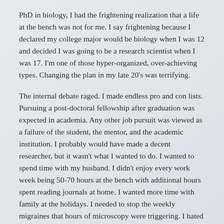PhD in biology, I had the frightening realization that a life at the bench was not for me. I say frightening because I declared my college major would be biology when I was 12 and decided I was going to be a research scientist when I was 17. I'm one of those hyper-organized, over-achieving types. Changing the plan in my late 20's was terrifying.
The internal debate raged. I made endless pro and con lists. Pursuing a post-doctoral fellowship after graduation was expected in academia. Any other job pursuit was viewed as a failure of the student, the mentor, and the academic institution. I probably would have made a decent researcher, but it wasn't what I wanted to do. I wanted to spend time with my husband. I didn't enjoy every work week being 50-70 hours at the bench with additional hours spent reading journals at home. I wanted more time with family at the holidays. I needed to stop the weekly migraines that hours of microscopy were triggering. I hated coming home smelling like mice.